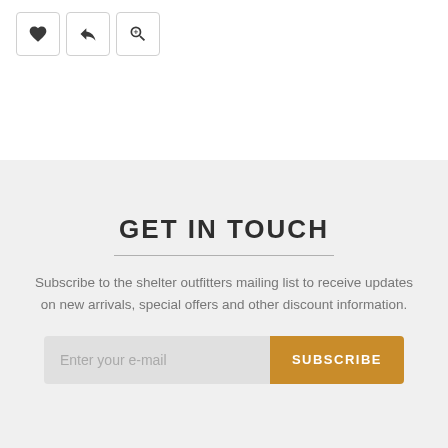[Figure (screenshot): Three icon buttons: heart/wishlist icon, resize/move icon, and zoom-in/magnify icon, each in a square bordered button]
GET IN TOUCH
Subscribe to the shelter outfitters mailing list to receive updates on new arrivals, special offers and other discount information.
[Figure (screenshot): Email subscription form with a light gray input field labeled 'Enter your e-mail' and a gold/amber 'SUBSCRIBE' button]